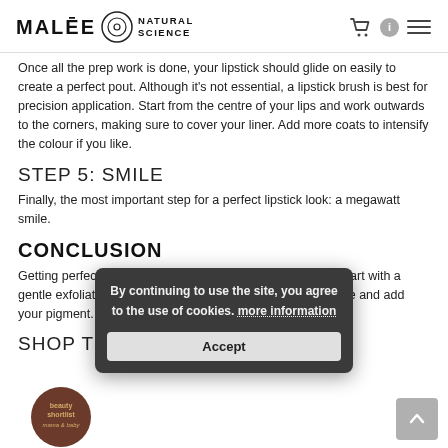MALĒE NATURAL SCIENCE
Once all the prep work is done, your lipstick should glide on easily to create a perfect pout. Although it's not essential, a lipstick brush is best for precision application. Start from the centre of your lips and work outwards to the corners, making sure to cover your liner. Add more coats to intensify the colour if you like.
STEP 5: SMILE
Finally, the most important step for a perfect lipstick look: a megawatt smile.
CONCLUSION
Getting perfect lips with lipstick is all about the prep work. Start with a gentle exfoliator, be sure to get plenty of moisture, prime, line and add your pigment.
SHOP THIS POST
By continuing to use the site, you agree to the use of cookies. more information
Accept